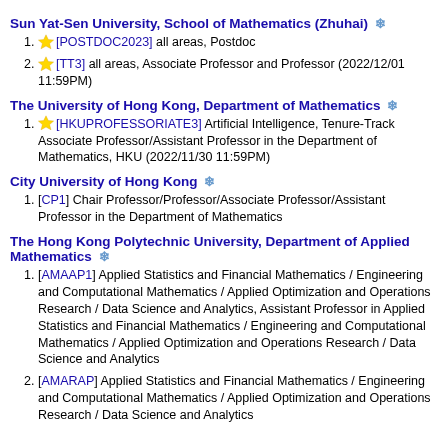Sun Yat-Sen University, School of Mathematics (Zhuhai) ❄
[POSTDOC2023] all areas, Postdoc
[TT3] all areas, Associate Professor and Professor (2022/12/01 11:59PM)
The University of Hong Kong, Department of Mathematics ❄
[HKUPROFESSORIATE3] Artificial Intelligence, Tenure-Track Associate Professor/Assistant Professor in the Department of Mathematics, HKU (2022/11/30 11:59PM)
City University of Hong Kong ❄
[CP1] Chair Professor/Professor/Associate Professor/Assistant Professor in the Department of Mathematics
The Hong Kong Polytechnic University, Department of Applied Mathematics ❄
[AMAAP1] Applied Statistics and Financial Mathematics / Engineering and Computational Mathematics / Applied Optimization and Operations Research / Data Science and Analytics, Assistant Professor in Applied Statistics and Financial Mathematics / Engineering and Computational Mathematics / Applied Optimization and Operations Research / Data Science and Analytics
[AMARAP] Applied Statistics and Financial Mathematics / Engineering and Computational Mathematics / Applied Optimization and Operations Research / Data Science and Analytics